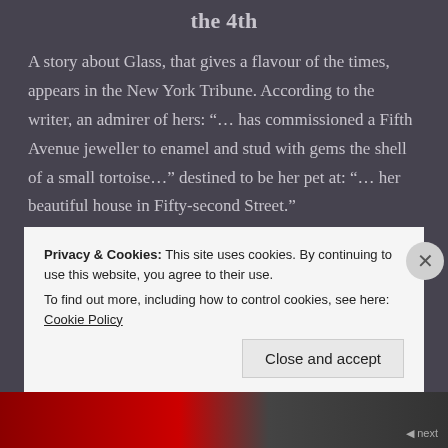the 4th
A story about Glass, that gives a flavour of the times, appears in the New York Tribune. According to the writer, an admirer of hers: “… has commissioned a Fifth Avenue jeweller to enamel and stud with gems the shell of a small tortoise…” destined to be her pet at: “… her beautiful house in Fifty-second Street.”
the 17th
In his column, New-York-Day-By-Day, in The
Privacy & Cookies: This site uses cookies. By continuing to use this website, you agree to their use.
To find out more, including how to control cookies, see here: Cookie Policy
Close and accept